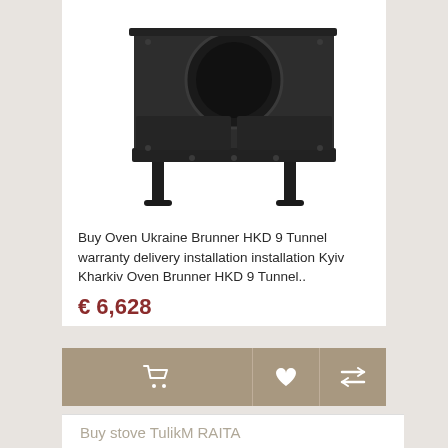[Figure (photo): Product photo of Brunner HKD 9 Tunnel oven/stove unit, dark gray/black metal casing with circular opening, mounted on four legs]
Buy Oven Ukraine Brunner HKD 9 Tunnel warranty delivery installation installation Kyiv Kharkiv Oven Brunner HKD 9 Tunnel..
€ 6,628
[Figure (other): Action bar with three buttons: shopping cart icon, heart/wishlist icon, and compare icon, all on tan/beige background]
Buy stove TulikM RAITA